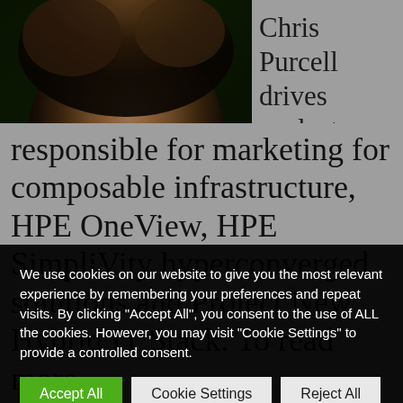[Figure (photo): Close-up photo of a person with curly brown/reddish hair against a dark background]
Chris Purcell drives analyst relations for the Software-
We use cookies on our website to give you the most relevant experience by remembering your preferences and repeat visits. By clicking "Accept All", you consent to the use of ALL the cookies. However, you may visit "Cookie Settings" to provide a controlled consent.
responsible for marketing for composable infrastructure, HPE OneView, HPE SimpliVity hyperconverged solutions and Project New Hybrid IT Stack.  To read more